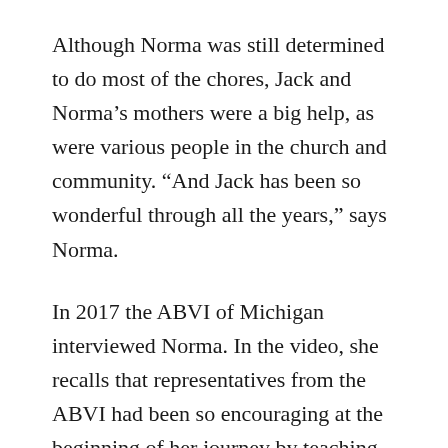Although Norma was still determined to do most of the chores, Jack and Norma’s mothers were a big help, as were various people in the church and community. “And Jack has been so wonderful through all the years,” says Norma.
In 2017 the ABVI of Michigan interviewed Norma. In the video, she recalls that representatives from the ABVI had been so encouraging at the beginning of her journey by teaching her adaptions that would allow her to safely navigate unfamiliar places and continue to provide for her family. Norma states that, with any disability, if we can accept our circumstances without bitterness, we can be a